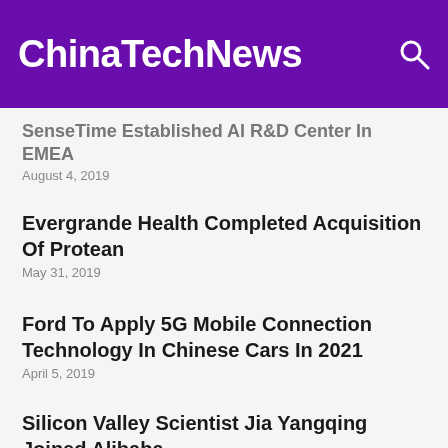ChinaTechNews
SenseTime Established AI R&D Center In EMEA
August 4, 2019
Evergrande Health Completed Acquisition Of Protean
May 31, 2019
Ford To Apply 5G Mobile Connection Technology In Chinese Cars In 2021
April 5, 2019
Silicon Valley Scientist Jia Yangqing Joined Alibaba
March 20, 2019